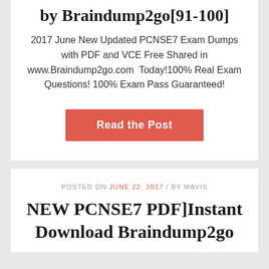by Braindump2go[91-100]
2017 June New Updated PCNSE7 Exam Dumps with PDF and VCE Free Shared in www.Braindump2go.com  Today!100% Real Exam Questions! 100% Exam Pass Guaranteed!
Read the Post
POSTED ON JUNE 22, 2017 / BY MAVIS
NEW PCNSE7 PDF]Instant Download Braindump2go